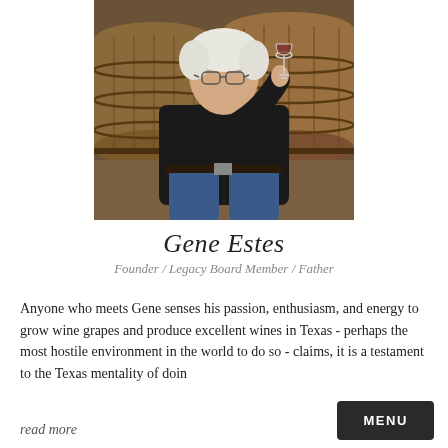[Figure (photo): An older man with white hair and glasses, wearing a black shirt and jeans, holding a glass of red wine up to examine it, seated in front of large wooden wine barrels in a winery cellar.]
Gene Estes
Founder / Legacy Board Member / Father
Anyone who meets Gene senses his passion, enthusiasm, and energy to grow wine grapes and produce excellent wines in Texas - perhaps the most hostile environment in the world to do so - claims, it is a testament to the Texas mentality of doin
read more